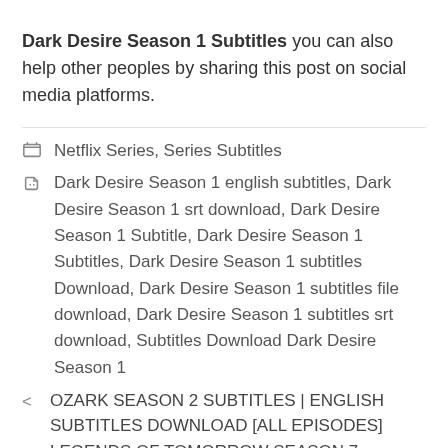Dark Desire Season 1 Subtitles you can also help other peoples by sharing this post on social media platforms.
Netflix Series, Series Subtitles
Dark Desire Season 1 english subtitles, Dark Desire Season 1 srt download, Dark Desire Season 1 Subtitle, Dark Desire Season 1 Subtitles, Dark Desire Season 1 subtitles Download, Dark Desire Season 1 subtitles file download, Dark Desire Season 1 subtitles srt download, Subtitles Download Dark Desire Season 1
< OZARK SEASON 2 SUBTITLES | ENGLISH SUBTITLES DOWNLOAD [ALL EPISODES]
> LEGENDS OF TOMORROW SEASON 7 EPISODE 9